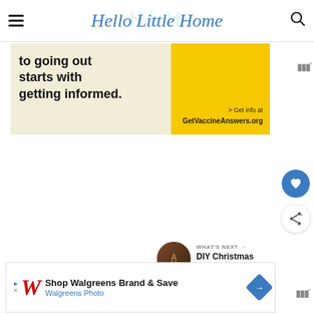Hello Little Home
[Figure (screenshot): Advertisement banner: 'to going out starts with getting informed.' with yellow panel and GetVaccineAnswers.org text on right]
[Figure (screenshot): Blue circular heart/favorite button]
[Figure (screenshot): White circular share button]
[Figure (screenshot): What's Next panel with DIY Christmas Marquee Sign thumbnail]
[Figure (screenshot): Bottom advertisement: Shop Walgreens Brand & Save - Walgreens Photo]